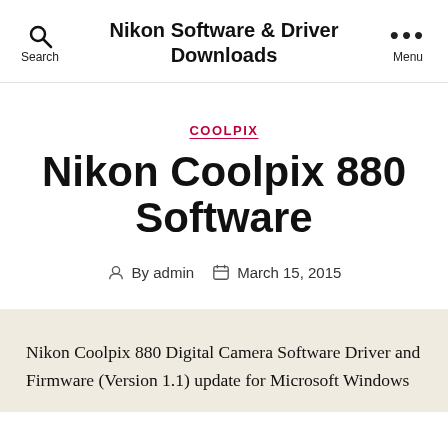Nikon Software & Driver Downloads
COOLPIX
Nikon Coolpix 880 Software
By admin   March 15, 2015
Nikon Coolpix 880 Digital Camera Software Driver and Firmware (Version 1.1) update for Microsoft Windows